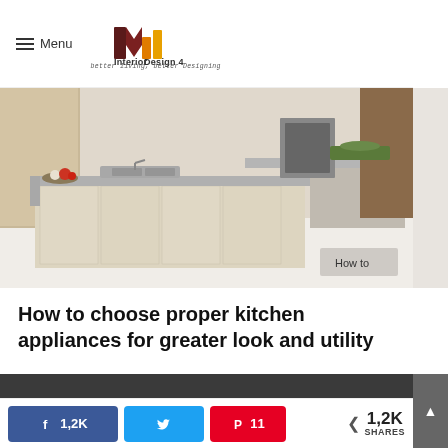Menu | Interior Design 4 — better living, better Designing
[Figure (photo): Modern kitchen interior with light wood cabinets, grey countertop island, and food items on the counter. Badge reads 'How to' in bottom right corner.]
How to choose proper kitchen appliances for greater look and utility
1,2K SHARES
Facebook share button: 1,2K
Twitter share button
Pinterest share button: 11